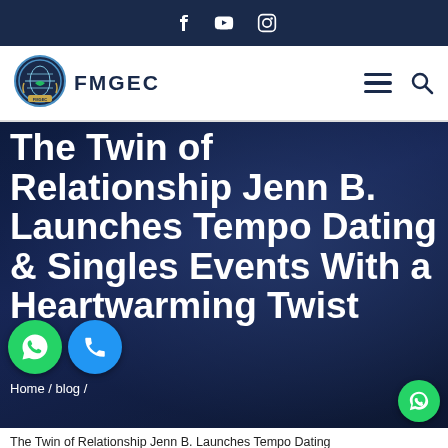f  [youtube]  [instagram]
[Figure (logo): FMGEC logo — circular emblem with hands and globe, navy and teal color scheme]
FMGEC
The Twin of Relationship Jenn B. Launches Tempo Dating & Singles Events With a Heartwarming Twist
Home / blog /
The Twin of Relationship Jenn B. Launches Tempo Dating